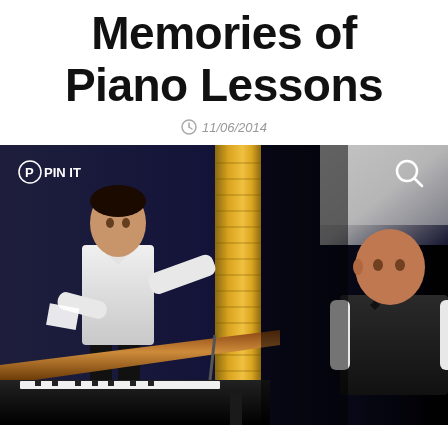Memories of Piano Lessons
11/06/2014
[Figure (photo): Two men on a performance stage. A tenor in a white formal jacket with bow tie stands gesturing with one hand toward a bald pianist seated at a grand piano on the right. A tall gold ornate pillar is visible in the center background. The pianist wears a dark vest with white shirt. A large grand piano with open lid showing wooden interior is in the foreground. Pinterest PIN IT button overlaid top-left; search icon overlaid top-right.]